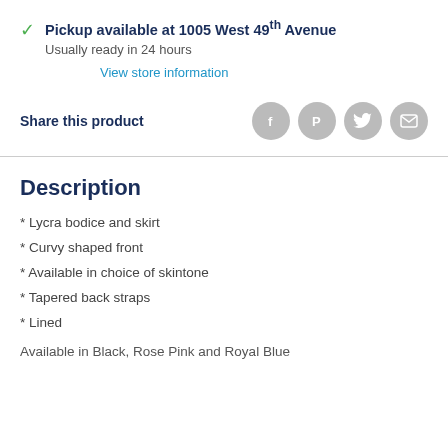Pickup available at 1005 West 49th Avenue
Usually ready in 24 hours
View store information
Share this product
[Figure (other): Social share icons: Facebook, Pinterest, Twitter, Email]
Description
* Lycra bodice and skirt
* Curvy shaped front
* Available in choice of skintone
* Tapered back straps
* Lined
Available in Black, Rose Pink and Royal Blue